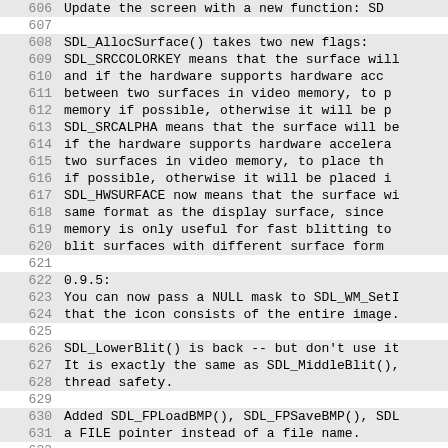Code listing lines 606-637 showing SDL changelog entries for version 0.9.5, including SDL_AllocSurface flags (SDL_SRCCOLORKEY, SDL_SRCALPHA, SDL_HWSURFACE), SDL_WM_SetIcon NULL mask, SDL_LowerBlit, SDL_FPLoadBMP/SDL_FPSaveBMP, and CD-ROM audio control API.